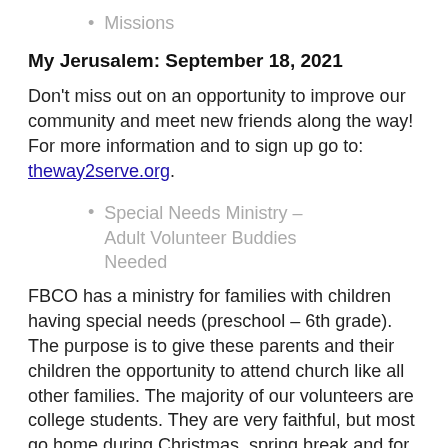Missions
My Jerusalem: September 18, 2021
Don't miss out on an opportunity to improve our community and meet new friends along the way! For more information and to sign up go to: theway2serve.org.
Special Needs Ministry – Adult Volunteer Buddies Needed
FBCO has a ministry for families with children having special needs (preschool – 6th grade). The purpose is to give these parents and their children the opportunity to attend church like all other families. The majority of our volunteers are college students. They are very faithful, but most go home during Christmas, spring break and for the summer. Our challenge is to develop a group of adults or local students we can call